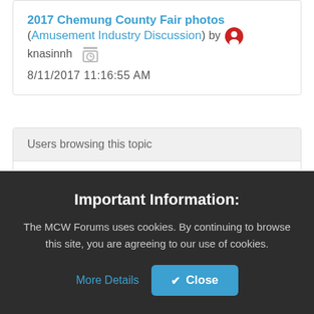2017 Chemung County Fair photos (Amusement Industry Discussion) by knasinnh 8/11/2017 11:16:55 AM
Users browsing this topic
Guest
Important Information:
The MCW Forums uses cookies. By continuing to browse this site, you are agreeing to our use of cookies.
More Details   Close